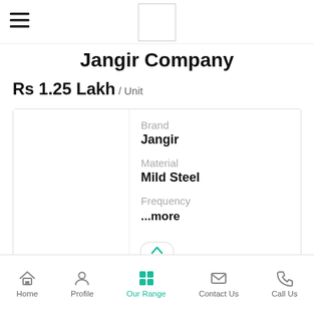[Figure (logo): Hamburger menu icon (three horizontal lines) at top left]
[Figure (logo): Company logo placeholder white box with border]
Jangir Company
Rs 1.25 Lakh / Unit
Brand
Jangir

Material
Mild Steel

Frequency
...more
Get Best Price
Call Now
Home   Profile   Our Range   Contact Us   Call Us